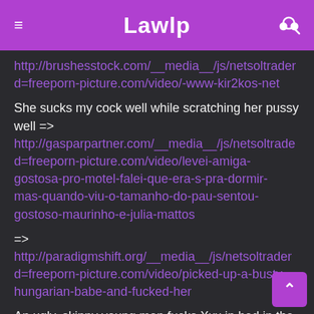Lawlp
http://brushesstock.com/__media__/js/netsoltrader d=freeporn-picture.com/video/-www-kir2kos-net
She sucks my cock well while scratching her pussy well => http://gasparpartner.com/__media__/js/netsoltrade d=freeporn-picture.com/video/levei-amiga-gostosa-pro-motel-falei-que-era-s-pra-dormir-mas-quando-viu-o-tamanho-do-pau-sentou-gostoso-maurinho-e-julia-mattos
=> http://paradigmshift.org/__media__/js/netsoltrader d=freeporn-picture.com/video/picked-up-a-busty-hungarian-babe-and-fucked-her
An ugly, skinny young man fucks Xxx in bed in the summer => http://www.lgbow.org/__media__/js/netsoltrad d=freeporn-picture.com/video/the-young-milf suck-his-cock-off-like-a-pro-and-swallows-his-